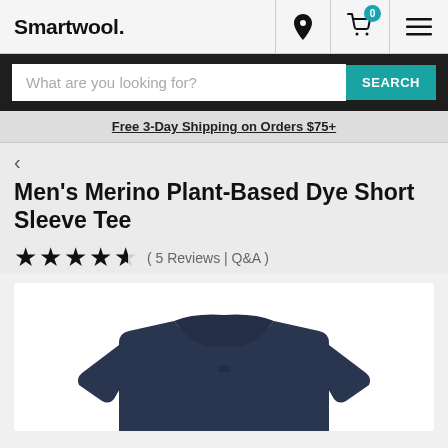Smartwool.
What are you looking for?  SEARCH
Free 3-Day Shipping on Orders $75+
Men's Merino Plant-Based Dye Short Sleeve Tee
★★★★½ ( 5 Reviews | Q&A )
[Figure (photo): Navy blue men's merino short sleeve tee shirt displayed flat on white background]